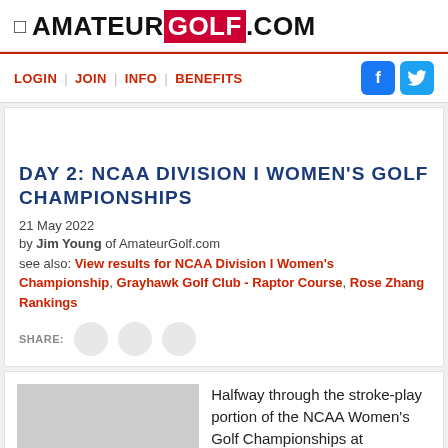AMATEUR GOLF.COM
LOGIN | JOIN | INFO | BENEFITS
DAY 2: NCAA DIVISION I WOMEN'S GOLF CHAMPIONSHIPS
21 May 2022
by Jim Young of AmateurGolf.com
see also: View results for NCAA Division I Women's Championship, Grayhawk Golf Club - Raptor Course, Rose Zhang Rankings
SHARE:
Rose Zhang (Stanford Athletics photo)
Halfway through the stroke-play portion of the NCAA Women's Golf Championships at